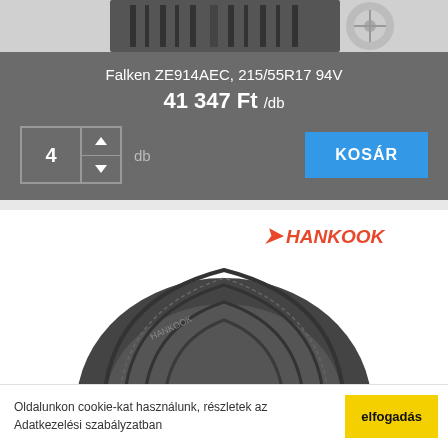[Figure (photo): Top portion of a tire/wheel product photo on grey background, cropped at top]
Falken ZE914AEC, 215/55R17 94V
41 347 Ft /db
4 db
KOSÁR
[Figure (logo): Hankook tire brand logo in orange/red italic text with wing symbol]
[Figure (photo): Hankook tire product photo showing tread pattern, partially cropped]
Oldalunkon cookie-kat használunk, részletek az Adatkezelési szabályzatban
elfogadás